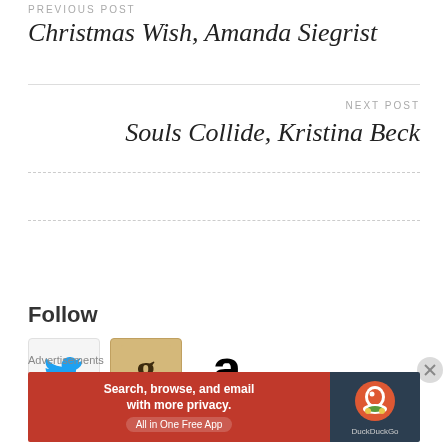PREVIOUS POST
Christmas Wish, Amanda Siegrist
Souls Collide, Kristina Beck
[Figure (other): Follow Rae's Reading Lounge WordPress follow button (blue, with WordPress logo)]
Follow
[Figure (other): Social media icons: Twitter (blue bird), Goodreads (brown/gold 'g' logo), Amazon (black 'a' with smile arrow)]
Advertisements
[Figure (infographic): DuckDuckGo advertisement banner: red background left side with text 'Search, browse, and email with more privacy. All in One Free App', dark right side with DuckDuckGo logo and duck icon]